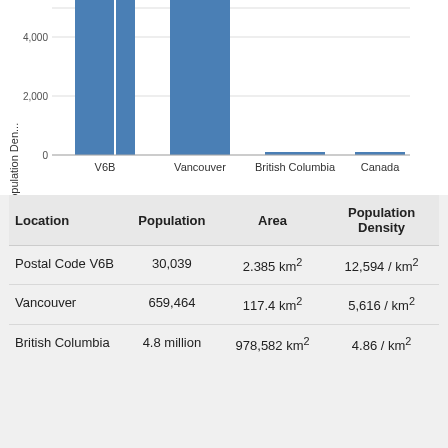[Figure (bar-chart): Population Density]
| Location | Population | Area | Population Density |
| --- | --- | --- | --- |
| Postal Code V6B | 30,039 | 2.385 km² | 12,594 / km² |
| Vancouver | 659,464 | 117.4 km² | 5,616 / km² |
| British Columbia | 4.8 million | 978,582 km² | 4.86 / km² |